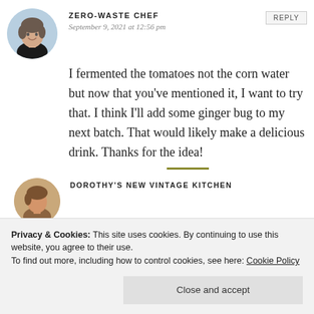ZERO-WASTE CHEF
REPLY
September 9, 2021 at 12:56 pm
I fermented the tomatoes not the corn water but now that you've mentioned it, I want to try that. I think I'll add some ginger bug to my next batch. That would likely make a delicious drink. Thanks for the idea!
[Figure (photo): Circular avatar photo of a woman with short wavy hair, smiling, light blue background]
[Figure (photo): Circular avatar photo of a person with brown hair, partially visible]
DOROTHY'S NEW VINTAGE KITCHEN
Privacy & Cookies: This site uses cookies. By continuing to use this website, you agree to their use.
To find out more, including how to control cookies, see here: Cookie Policy
Close and accept